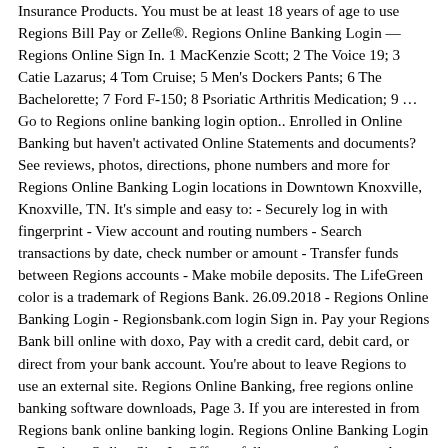Insurance Products. You must be at least 18 years of age to use Regions Bill Pay or Zelle®. Regions Online Banking Login — Regions Online Sign In. 1 MacKenzie Scott; 2 The Voice 19; 3 Catie Lazarus; 4 Tom Cruise; 5 Men's Dockers Pants; 6 The Bachelorette; 7 Ford F-150; 8 Psoriatic Arthritis Medication; 9 … Go to Regions online banking login option.. Enrolled in Online Banking but haven't activated Online Statements and documents? See reviews, photos, directions, phone numbers and more for Regions Online Banking Login locations in Downtown Knoxville, Knoxville, TN. It's simple and easy to: - Securely log in with fingerprint - View account and routing numbers - Search transactions by date, check number or amount - Transfer funds between Regions accounts - Make mobile deposits. The LifeGreen color is a trademark of Regions Bank. 26.09.2018 - Regions Online Banking Login - Regionsbank.com login Sign in. Pay your Regions Bank bill online with doxo, Pay with a credit card, debit card, or direct from your bank account. You're about to leave Regions to use an external site. Regions Online Banking, free regions online banking software downloads, Page 3. If you are interested in from Regions bank online banking login. Regions Online Banking Login — Regions Online Sign In. Offers a full spectrum of personal banking solutions designed to simplify your life. Regions, the Regions logo and the LifeGreen bike are registered trademarks of Regions Bank. How To Enroll in Online Banking. All Rights Reserved. Locate the Online Banking Login box at the top of the Regions page and click on it. Find 50 listings